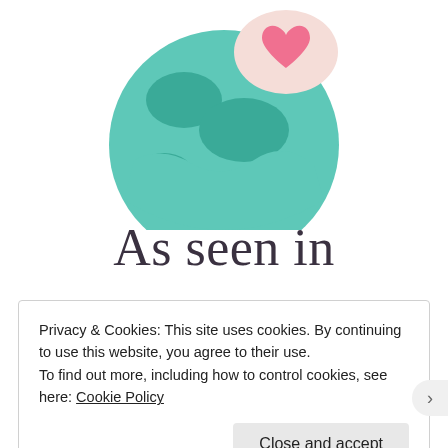[Figure (illustration): Cartoon globe illustration in teal/green colors with a speech bubble containing a pink heart, partially cropped at top]
As seen in
Privacy & Cookies: This site uses cookies. By continuing to use this website, you agree to their use.
To find out more, including how to control cookies, see here: Cookie Policy
Close and accept